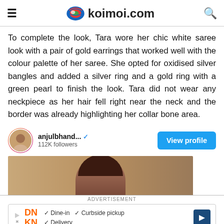koimoi.com
To complete the look, Tara wore her chic white saree look with a pair of gold earrings that worked well with the colour palette of her saree. She opted for oxidised silver bangles and added a silver ring and a gold ring with a green pearl to finish the look. Tara did not wear any neckpiece as her hair fell right near the neck and the border was already highlighting her collar bone area.
[Figure (screenshot): Instagram profile widget showing anjulbhand... account with 112K followers and a View profile button]
[Figure (photo): Photo of a woman with brown hair against a tan/gold background]
[Figure (infographic): Advertisement banner showing DNKN logo with Dine-in, Curbside pickup, Delivery options and a blue diamond arrow icon]